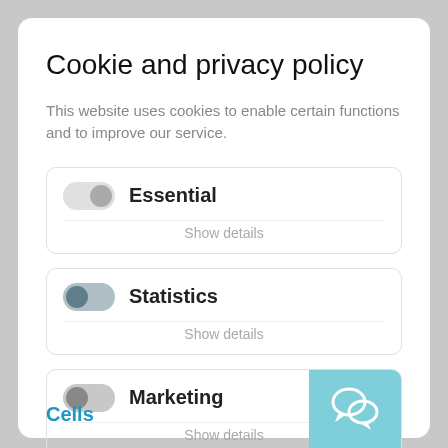Cookie and privacy policy
This website uses cookies to enable certain functions and to improve our service.
[Figure (screenshot): Toggle switch (off) labeled Essential with Show details link]
[Figure (screenshot): Toggle switch (on/grey) labeled Statistics with Show details link]
[Figure (screenshot): Toggle switch (off) labeled Marketing with Show details link and chat widget overlay]
Cells